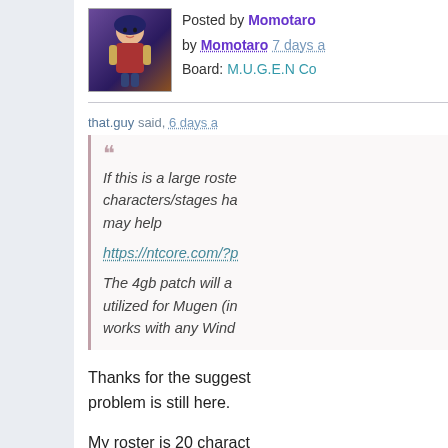[Figure (photo): Avatar image of user Momotaro - anime/game style character illustration]
Posted by Momotaro by Momotaro 7 days a Board: M.U.G.E.N Co
that.guy said, 6 days a
If this is a large roste characters/stages ha may help
https://ntcore.com/?p
The 4gb patch will a utilized for Mugen (in works with any Wind
Thanks for the suggest problem is still here.
My roster is 20 charact they are all around 3mb